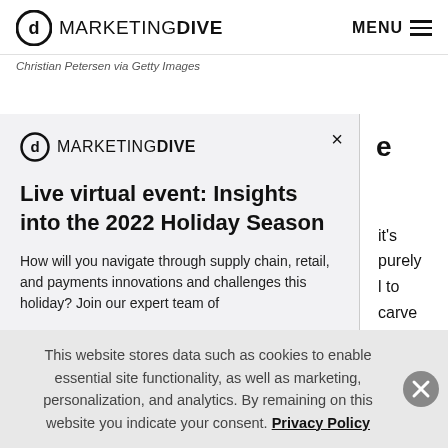MARKETING DIVE  MENU
Christian Petersen via Getty Images
[Figure (screenshot): Marketing Dive modal popup with title 'Live virtual event: Insights into the 2022 Holiday Season' and body text about supply chain, retail, and payments innovations]
Live virtual event: Insights into the 2022 Holiday Season
How will you navigate through supply chain, retail, and payments innovations and challenges this holiday? Join our expert team of
This website stores data such as cookies to enable essential site functionality, as well as marketing, personalization, and analytics. By remaining on this website you indicate your consent. Privacy Policy